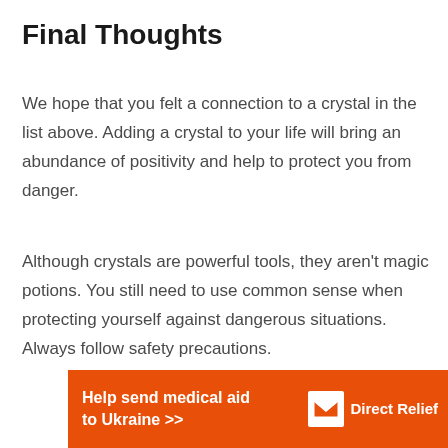Final Thoughts
We hope that you felt a connection to a crystal in the list above. Adding a crystal to your life will bring an abundance of positivity and help to protect you from danger.
Although crystals are powerful tools, they aren't magic potions. You still need to use common sense when protecting yourself against dangerous situations. Always follow safety precautions.
[Figure (infographic): Orange banner advertisement reading 'Help send medical aid to Ukraine >>' with the Direct Relief logo (white box icon and Direct Relief text in white) on the right side.]